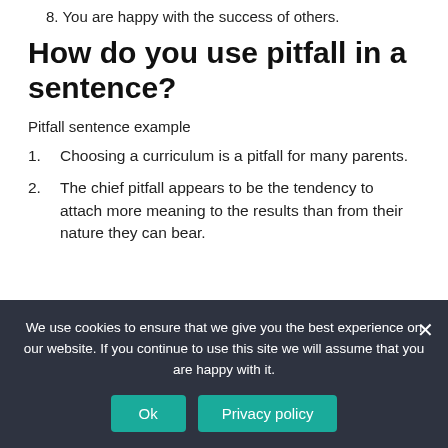8. You are happy with the success of others.
How do you use pitfall in a sentence?
Pitfall sentence example
1. Choosing a curriculum is a pitfall for many parents.
2. The chief pitfall appears to be the tendency to attach more meaning to the results than from their nature they can bear.
We use cookies to ensure that we give you the best experience on our website. If you continue to use this site we will assume that you are happy with it.